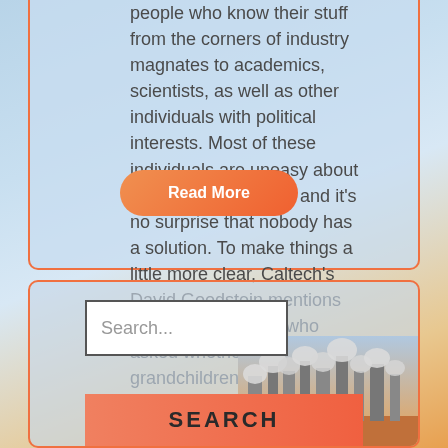people who know their stuff from the corners of industry magnates to academics, scientists, as well as other individuals with political interests. Most of these individuals are uneasy about what they are saying and it's no surprise that nobody has a solution. To make things a little more clear, Caltech's David Goodstein mentions one of his students who asked whether his grandchildren would ever have the opportunity to ride in an airplane, to which Goodstein answered probably not....
Read More
Search...
SEARCH